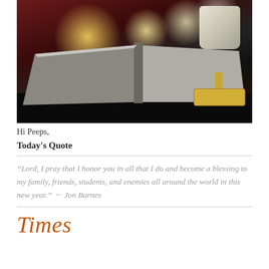[Figure (photo): An open book/Bible with bokeh Christmas lights in the background (red and golden tones) and a light-colored mug in the upper right corner, resting on a dark surface.]
Hi Peeps,
Today's Quote
“Lord, I pray that I honor you in all that I do and become a blessing to my family, friends, students, and enemies all around the world in this new year.”  ~  Jon Barnes
Times